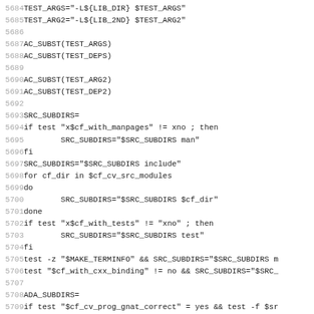Source code listing lines 5684-5715 of a shell/autoconf configure script